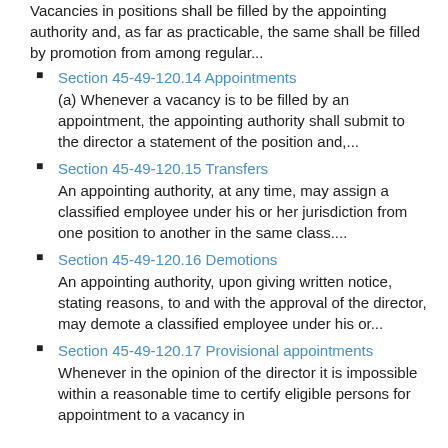Vacancies in positions shall be filled by the appointing authority and, as far as practicable, the same shall be filled by promotion from among regular...
Section 45-49-120.14 Appointments
(a) Whenever a vacancy is to be filled by an appointment, the appointing authority shall submit to the director a statement of the position and,...
Section 45-49-120.15 Transfers
An appointing authority, at any time, may assign a classified employee under his or her jurisdiction from one position to another in the same class....
Section 45-49-120.16 Demotions
An appointing authority, upon giving written notice, stating reasons, to and with the approval of the director, may demote a classified employee under his or...
Section 45-49-120.17 Provisional appointments
Whenever in the opinion of the director it is impossible within a reasonable time to certify eligible persons for appointment to a vacancy in